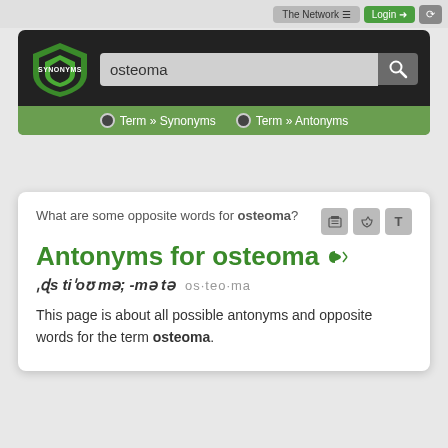[Figure (screenshot): Synonyms.com website header with logo, search bar with 'osteoma', navigation tabs for Term » Synonyms and Term » Antonyms]
What are some opposite words for osteoma?
Antonyms for osteoma
ˌɒs tiˈoʊ mə; -mə tə  os·teo·ma
This page is about all possible antonyms and opposite words for the term osteoma.